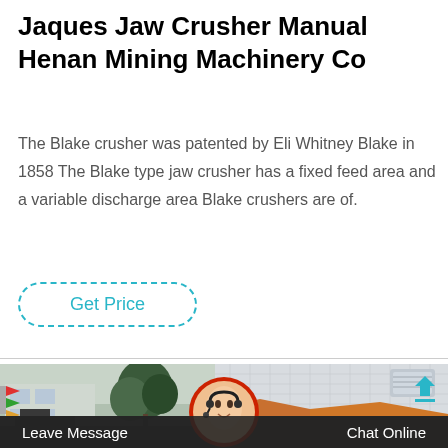Jaques Jaw Crusher Manual Henan Mining Machinery Co
The Blake crusher was patented by Eli Whitney Blake in 1858 The Blake type jaw crusher has a fixed feed area and a variable discharge area Blake crushers are of.
Get Price
[Figure (photo): Split photograph showing left side: outdoor scene with colorful flags and a large tree in front of a factory building; right side: indoor/outdoor view of a building with an orange tent structure and a wall-mounted air conditioning unit. A circular avatar of a smiling woman wearing a headset overlaid at center-bottom. Teal upload arrow icon visible at top-right of right image. Bottom overlay bar with 'Leave Message' on left and 'Chat Online' on right in white text.]